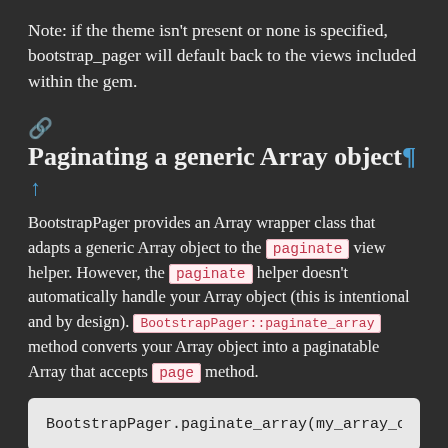Note: if the theme isn't present or none is specified, bootstrap_pager will default back to the views included within the gem.
Paginating a generic Array object
BootstrapPager provides an Array wrapper class that adapts a generic Array object to the paginate view helper. However, the paginate helper doesn't automatically handle your Array object (this is intentional and by design). BootstrapPager::paginate_array method converts your Array object into a paginatable Array that accepts page method.
BootstrapPager.paginate_array(my_array_o
You can specify the total_count value the selections. Here. This could be useful.